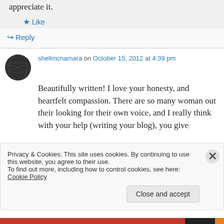appreciate it.
★ Like
↪ Reply
shellmcnamara on October 15, 2012 at 4:39 pm
Beautifully written! I love your honesty, and heartfelt compassion. There are so many woman out their looking for their own voice, and I really think with your help (writing your blog), you give
Privacy & Cookies: This site uses cookies. By continuing to use this website, you agree to their use.
To find out more, including how to control cookies, see here: Cookie Policy
Close and accept